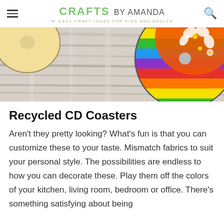CRAFTS BY AMANDA — EASY CRAFT IDEAS FOR KIDS AND ADULTS
[Figure (photo): Close-up photo of a whitewashed wood table surface with colorful circular CD coasters decorated with patterned fabric — one with orange floral print and rainbow stripes visible on the right side, partial yellow coaster on the upper left.]
Recycled CD Coasters
Aren't they pretty looking? What's fun is that you can customize these to your taste. Mismatch fabrics to suit your personal style. The possibilities are endless to how you can decorate these. Play them off the colors of your kitchen, living room, bedroom or office. There's something satisfying about being